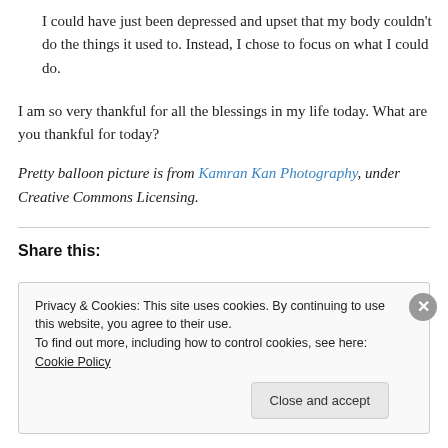I could have just been depressed and upset that my body couldn't do the things it used to. Instead, I chose to focus on what I could do.
I am so very thankful for all the blessings in my life today. What are you thankful for today?
Pretty balloon picture is from Kamran Kan Photography, under Creative Commons Licensing.
Share this:
Privacy & Cookies: This site uses cookies. By continuing to use this website, you agree to their use. To find out more, including how to control cookies, see here: Cookie Policy
Close and accept